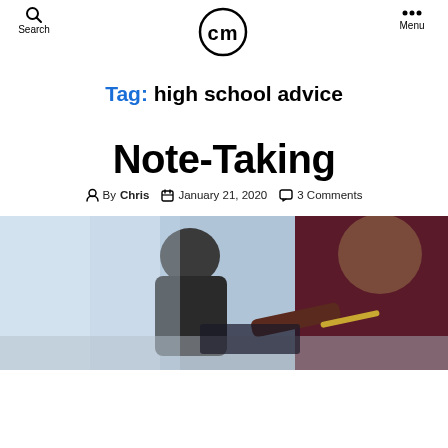Search | cm | Menu
Tag: high school advice
Note-Taking
By Chris | January 21, 2020 | 3 Comments
[Figure (photo): Two people taking notes at a desk, one in a dark maroon blazer holding a pen, another person visible in the background in a dark jacket]